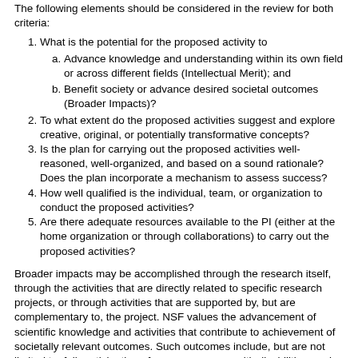The following elements should be considered in the review for both criteria:
1. What is the potential for the proposed activity to
   a. Advance knowledge and understanding within its own field or across different fields (Intellectual Merit); and
   b. Benefit society or advance desired societal outcomes (Broader Impacts)?
2. To what extent do the proposed activities suggest and explore creative, original, or potentially transformative concepts?
3. Is the plan for carrying out the proposed activities well-reasoned, well-organized, and based on a sound rationale? Does the plan incorporate a mechanism to assess success?
4. How well qualified is the individual, team, or organization to conduct the proposed activities?
5. Are there adequate resources available to the PI (either at the home organization or through collaborations) to carry out the proposed activities?
Broader impacts may be accomplished through the research itself, through the activities that are directly related to specific research projects, or through activities that are supported by, but are complementary to, the project. NSF values the advancement of scientific knowledge and activities that contribute to achievement of societally relevant outcomes. Such outcomes include, but are not limited to: full participation of women, persons with disabilities, and other underrepresented groups in science, technology, engineering, and mathematics (STEM); improved STEM education and educator development at any level; increased public scientific literacy and public engagement with science and technology; improved well-being of individuals in society; development of a diverse, globally competitive STEM workforce; increased partnerships between academia, industry, and others; improved national security; increased economic competitiveness of the